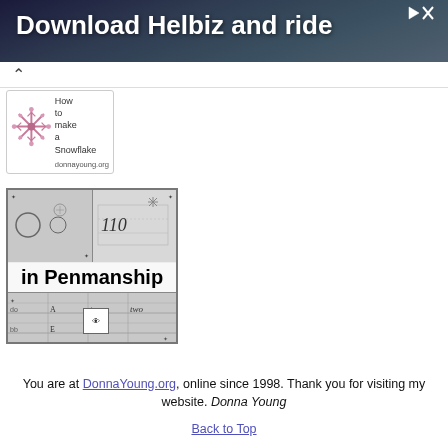[Figure (photo): Advertisement banner: 'Download Helbiz and ride' with play and close icons on dark urban background]
[Figure (illustration): Snowflake image with text 'How to make a Snowflake' and URL donnayoung.org]
[Figure (screenshot): Penmanship worksheet thumbnail with 'in Penmanship' label overlay]
You are at DonnaYoung.org, online since 1998. Thank you for visiting my website. Donna Young
Back to Top